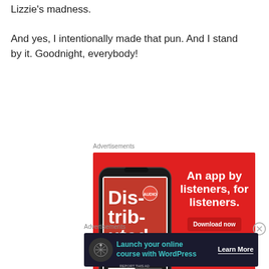Lizzie's madness.

And yes, I intentionally made that pun. And I stand by it. Goodnight, everybody!
Advertisements
[Figure (illustration): Pocket Casts advertisement on red background showing a smartphone with podcast app open displaying 'Distributed' podcast cover. Text reads 'An app by listeners, for listeners.' with a 'Download now' button and Pocket Casts logo.]
Advertisements
[Figure (illustration): WordPress advertisement on dark background showing icon with text 'Launch your online course with WordPress' and 'Learn More' call to action.]